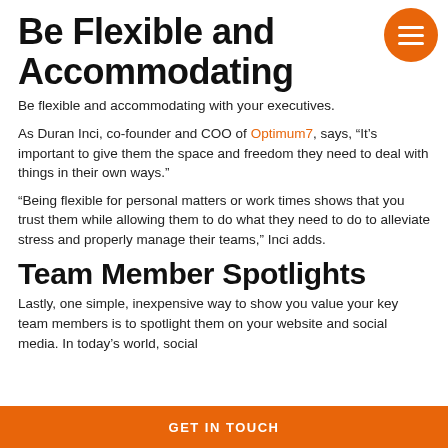Be Flexible and Accommodating
Be flexible and accommodating with your executives.
As Duran Inci, co-founder and COO of Optimum7, says, “It’s important to give them the space and freedom they need to deal with things in their own ways.”
“Being flexible for personal matters or work times shows that you trust them while allowing them to do what they need to do to alleviate stress and properly manage their teams,” Inci adds.
Team Member Spotlights
Lastly, one simple, inexpensive way to show you value your key team members is to spotlight them on your website and social media. In today’s world, social
GET IN TOUCH